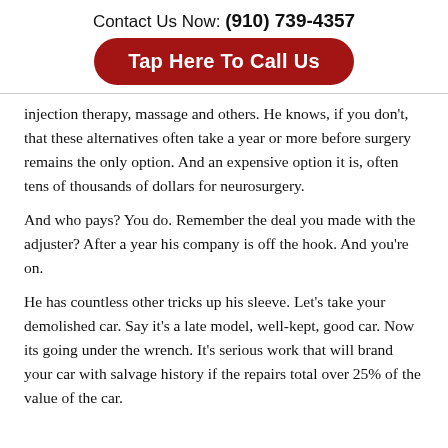Contact Us Now: (910) 739-4357
[Figure (other): Red rounded rectangle button with white bold text: Tap Here To Call Us]
injection therapy, massage and others. He knows, if you don't, that these alternatives often take a year or more before surgery remains the only option. And an expensive option it is, often tens of thousands of dollars for neurosurgery.
And who pays? You do. Remember the deal you made with the adjuster? After a year his company is off the hook. And you're on.
He has countless other tricks up his sleeve. Let's take your demolished car. Say it's a late model, well-kept, good car. Now its going under the wrench. It's serious work that will brand your car with salvage history if the repairs total over 25% of the value of the car.